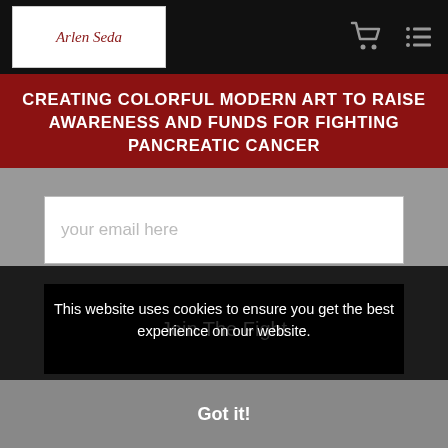Artist logo / navigation bar with cart and menu icons
CREATING COLORFUL MODERN ART TO RAISE AWARENESS AND FUNDS FOR FIGHTING PANCREATIC CANCER
your email here
Join The Fight
This website uses cookies to ensure you get the best experience on our website.
Got it!